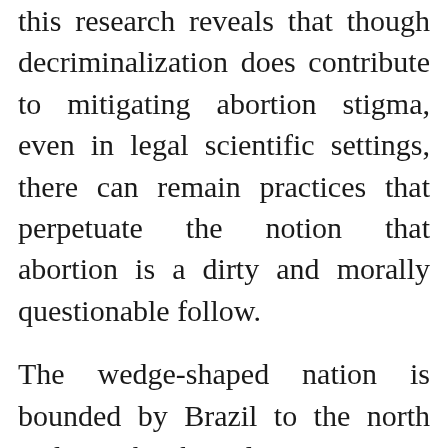this research reveals that though decriminalization does contribute to mitigating abortion stigma, even in legal scientific settings, there can remain practices that perpetuate the notion that abortion is a dirty and morally questionable follow.
The wedge-shaped nation is bounded by Brazil to the north and east, by the Atlantic Ocean to the southeast, and by the Río de la Plata to the south, whereas the Uruguay River serves as its western boundary with Argentina. Britannica is the last word scholar useful resource for key faculty topics like history, authorities, literature, and extra. © The redistribution and rebroadcasting of all or a part of the content material of EFE providers is strictly prohibited with out the prior expressed consent of EFE, S.A. Church and state are officially separated in Uruguay